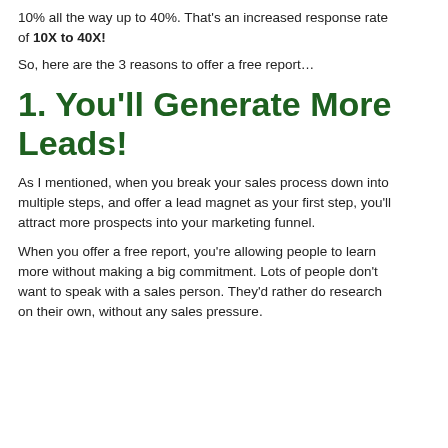10% all the way up to 40%. That's an increased response rate of 10X to 40X!
So, here are the 3 reasons to offer a free report…
1. You'll Generate More Leads!
As I mentioned, when you break your sales process down into multiple steps, and offer a lead magnet as your first step, you'll attract more prospects into your marketing funnel.
When you offer a free report, you're allowing people to learn more without making a big commitment. Lots of people don't want to speak with a sales person. They'd rather do research on their own, without any sales pressure.